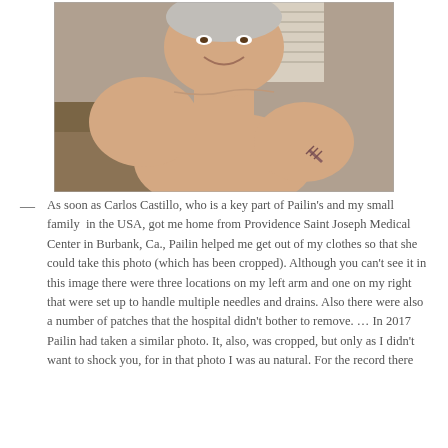[Figure (photo): A photograph of an elderly person smiling, shown from the chest up, with a visible surgical incision/scar on the right chest/shoulder area. The background shows an office setting with furniture and blinds.]
— As soon as Carlos Castillo, who is a key part of Pailin's and my small family in the USA, got me home from Providence Saint Joseph Medical Center in Burbank, Ca., Pailin helped me get out of my clothes so that she could take this photo (which has been cropped). Although you can't see it in this image there were three locations on my left arm and one on my right that were set up to handle multiple needles and drains. Also there were also a number of patches that the hospital didn't bother to remove. … In 2017 Pailin had taken a similar photo. It, also, was cropped, but only as I didn't want to shock you, for in that photo I was au natural. For the record there